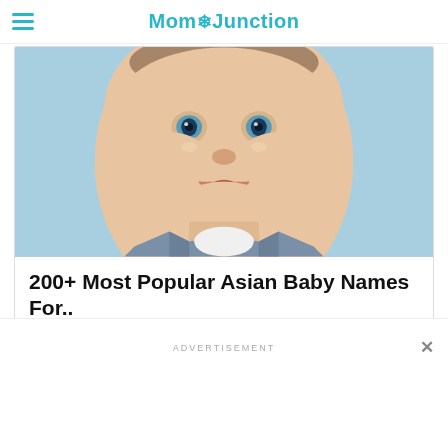MomJunction
[Figure (photo): Close-up photo of a smiling baby with blue eyes wearing a denim vest]
200+ Most Popular Asian Baby Names For..
ADVERTISEMENT